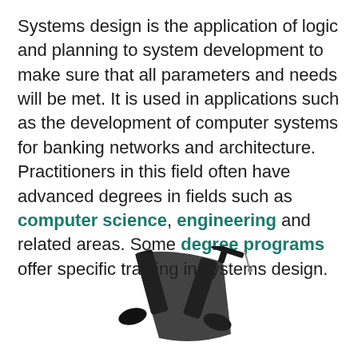Systems design is the application of logic and planning to system development to make sure that all parameters and needs will be met. It is used in applications such as the development of computer systems for banking networks and architecture. Practitioners in this field often have advanced degrees in fields such as computer science, engineering and related areas. Some degree programs offer specific training in systems design.
[Figure (photo): Partial photo of a person in graduation attire (black gown and cap) visible from roughly the knees down, appearing to be in motion or jumping, cropped at the bottom of the page.]